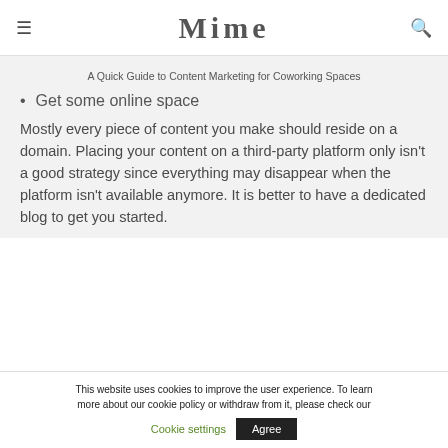Mime
A Quick Guide to Content Marketing for Coworking Spaces
Get some online space
Mostly every piece of content you make should reside on a domain. Placing your content on a third-party platform only isn't a good strategy since everything may disappear when the platform isn't available anymore. It is better to have a dedicated blog to get you started.
This website uses cookies to improve the user experience. To learn more about our cookie policy or withdraw from it, please check our Cookie settings Agree